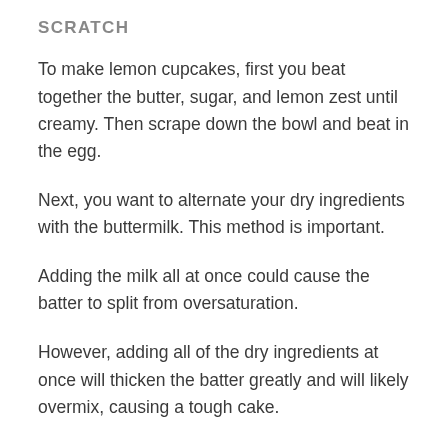SCRATCH
To make lemon cupcakes, first you beat together the butter, sugar, and lemon zest until creamy. Then scrape down the bowl and beat in the egg.
Next, you want to alternate your dry ingredients with the buttermilk. This method is important.
Adding the milk all at once could cause the batter to split from oversaturation.
However, adding all of the dry ingredients at once will thicken the batter greatly and will likely overmix, causing a tough cake.